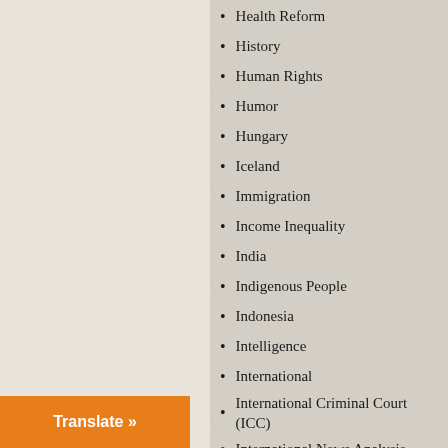Health Reform
History
Human Rights
Humor
Hungary
Iceland
Immigration
Income Inequality
India
Indigenous People
Indonesia
Intelligence
International
International Criminal Court (ICC)
International News Analysis
Iran
Iran-Contra
Iraq
Ireland
Israel